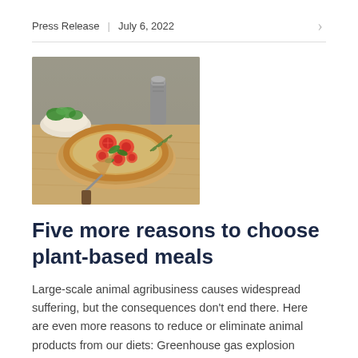Press Release   July 6, 2022
[Figure (photo): A round tomato and herb flatbread/pizza on a wooden cutting board, with a bowl of greens and a metal shaker in the background.]
Five more reasons to choose plant-based meals
Large-scale animal agribusiness causes widespread suffering, but the consequences don't end there. Here are even more reasons to reduce or eliminate animal products from our diets: Greenhouse gas explosion Many aspects of the meat, egg and dairy industries—not just